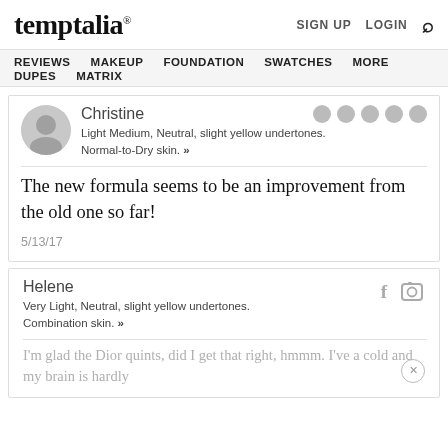temptalia® | SIGN UP  LOGIN  🔍
REVIEWS  MAKEUP  FOUNDATION  SWATCHES  MORE  DUPES  MATRIX
Christine
Light Medium, Neutral, slight yellow undertones.
Normal-to-Dry skin. »
The new formula seems to be an improvement from the old one so far!
5/13/17
Helene
Very Light, Neutral, slight yellow undertones.
Combination skin. »
I'm glad the Dior quints, did I get that right, hmmm. I've a cold and my brain is hardly